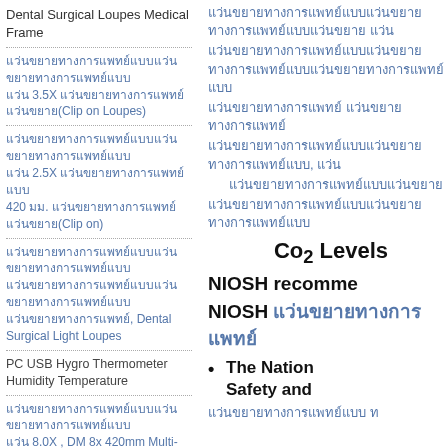Dental Surgical Loupes Medical Frame
แว่นขยายทางการแพทย์แบบ 3.5X แว่นขยายทางการแพทย์แบบ(Clip on Loupes)
แว่นขยายทางการแพทย์แบบ 2.5X แว่นขยายทางการแพทย์แบบ 420 มม. แว่นขยายทางการแพทย์แบบ(Clip on)
แว่นขยายทางการแพทย์แบบแว่นขยายทางการแพทย์แบบ, Dental Surgical Light Loupes
PC USB Hygro Thermometer Humidity Temperature
แว่นขยายทางการแพทย์แบบ 8.0X , DM 8x 420mm Multi-Focus Dental Binocular Loupes
แว่นขยายทางการแพทย์แบบ 550 มม. 2.5x
แว่นขยายทางการแพทย์แบบ แว่นขยายทางการแพทย์แบบ แว่นขยายทางการแพทย์แบบ
แว่นขยายทางการแพทย์แบบแว่นขยายทางการแพทย์แบบ แว่นขยาย
แว่นขยายทางการแพทย์แบบแว่นขยายทางการแพทย์แบบแว่นขยายทางการแพทย์แบบ
แว่นขยายทางการแพทย์แบบ แว่นขยายทางการแพทย์
แว่นขยายทางการแพทย์แบบแว่นขยายทางการแพทย์แบบ, แว่น
แว่นขยายทางการแพทย์แบบแว่นขยาย
แว่นขยายทางการแพทย์แบบแว่นขยายทางการแพทย์แบบ
Co2 Levels
NIOSH recomme
NIOSH แว่นขยายทางการแพทย์
The National Institute for Occupational Safety and
แว่นขยายทางการแพทย์